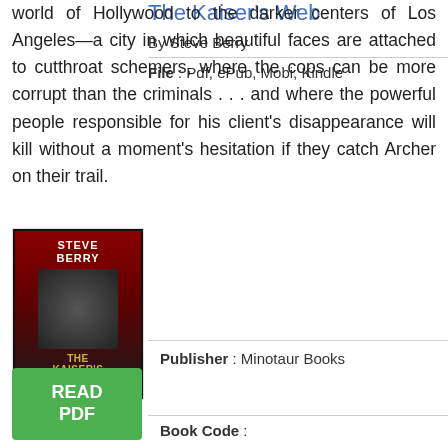world of Hollywood to the darker centers of Los Angeles—a city in which beautiful faces are attached to cutthroat schemers, where the cops can be more corrupt than the criminals . . . and where the powerful people responsible for his client's disappearance will kill without a moment's hesitation if they catch Archer on their trail.
The Kaiser's Web
By Steve Berry
[Figure (illustration): Book cover of The Kaiser's Web by Steve Berry, showing the author name in white text, book title in gold, on a dark red and black background]
READ PDF button (green)
File : Pdf, ePub, Mobi, Kindle
Publisher : Minotaur Books
Book Code :